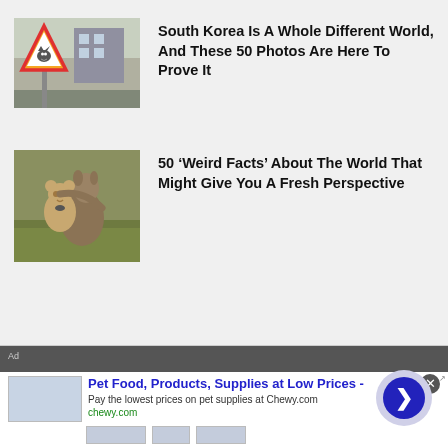[Figure (photo): A triangular yellow warning road sign with a cat silhouette on it, mounted on a pole, with a building in the background.]
South Korea Is A Whole Different World, And These 50 Photos Are Here To Prove It
[Figure (photo): A kangaroo holding and hugging a large stuffed teddy bear toy outdoors in a grassy field.]
50 ‘Weird Facts’ About The World That Might Give You A Fresh Perspective
“…et Friend Made A Journey Too Wi…
[Figure (screenshot): An advertisement banner for Chewy.com: Pet Food, Products, Supplies at Low Prices. Pay the lowest prices on pet supplies at Chewy.com. Shows a blue arrow button and small product logo images.]